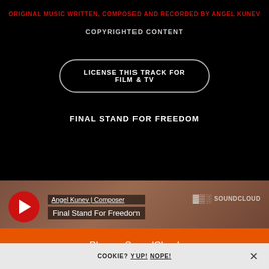ORIGINAL MUSIC WRITTEN, COMPOSED AND RECORDED BY ANGEL KUNEV
COPYRIGHTED CONTENT
LICENSE THIS TRACK FOR FILM & TV
FINAL STAND FOR FREEDOM
[Figure (screenshot): SoundCloud embedded player showing artist 'Angel Kunev | Composer' and track 'Final Stand For Freedom' with a red play button on a brownish gradient background with SoundCloud logo]
Play on SoundCloud
COOKIE? YUP! NOPE!